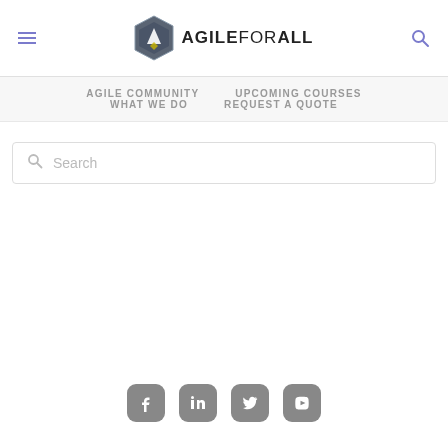[Figure (logo): Agile For All logo with hexagon icon and text]
AGILE COMMUNITY
UPCOMING COURSES
WHAT WE DO
REQUEST A QUOTE
Search
[Figure (infographic): Social media icons: Facebook, LinkedIn, Twitter, YouTube]